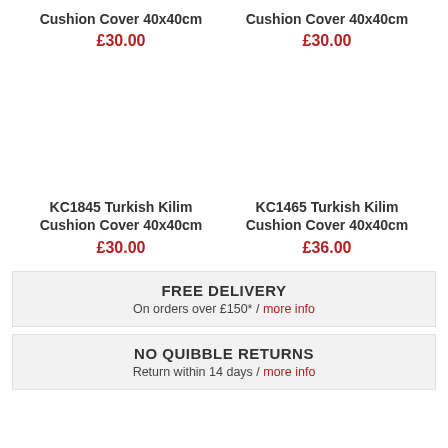Cushion Cover 40x40cm
£30.00
Cushion Cover 40x40cm
£30.00
KC1845 Turkish Kilim Cushion Cover 40x40cm
£30.00
KC1465 Turkish Kilim Cushion Cover 40x40cm
£36.00
FREE DELIVERY
On orders over £150* / more info
NO QUIBBLE RETURNS
Return within 14 days / more info